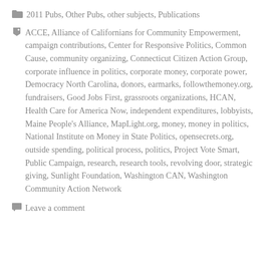2011 Pubs, Other Pubs, other subjects, Publications
ACCE, Alliance of Californians for Community Empowerment, campaign contributions, Center for Responsive Politics, Common Cause, community organizing, Connecticut Citizen Action Group, corporate influence in politics, corporate money, corporate power, Democracy North Carolina, donors, earmarks, followthemoney.org, fundraisers, Good Jobs First, grassroots organizations, HCAN, Health Care for America Now, independent expenditures, lobbyists, Maine People's Alliance, MapLight.org, money, money in politics, National Institute on Money in State Politics, opensecrets.org, outside spending, political process, politics, Project Vote Smart, Public Campaign, research, research tools, revolving door, strategic giving, Sunlight Foundation, Washington CAN, Washington Community Action Network
Leave a comment